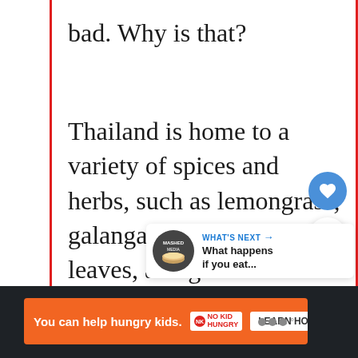bad. Why is that?
Thailand is home to a variety of spices and herbs, such as lemongrass, galangal, kaffir lime leaves, and gi...
These ingredients are often add...
[Figure (screenshot): What's Next panel showing 'What happens if you eat...' with a food image thumbnail]
[Figure (infographic): Advertisement banner: You can help hungry kids. No Kid Hungry. Learn How.]